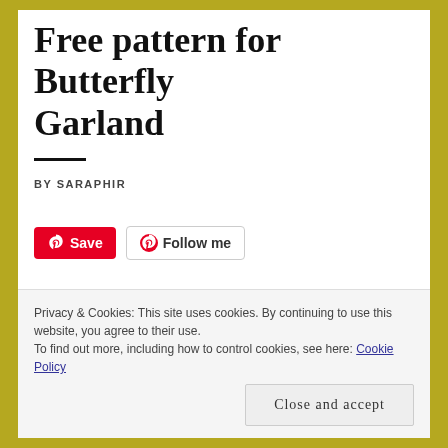Free pattern for Butterfly Garland
BY SARAPHIR
[Figure (screenshot): Pinterest Save button (red background, white Pinterest logo and text 'Save') and Follow me button (white background, Pinterest logo and text 'Follow me')]
I am very happy to finally have finished writing out the pattern for these wee butterflies. This is the
Privacy & Cookies: This site uses cookies. By continuing to use this website, you agree to their use.
To find out more, including how to control cookies, see here: Cookie Policy
Close and accept